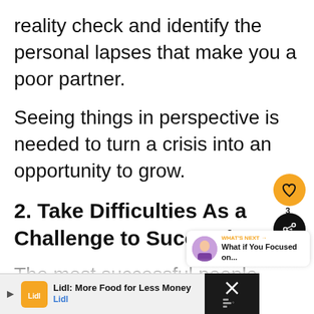reality check and identify the personal lapses that make you a poor partner.
Seeing things in perspective is needed to turn a crisis into an opportunity to grow.
2. Take Difficulties As a Challenge to Succeed
The most successful people were
[Figure (screenshot): UI overlay with heart/like button (orange circle), share button (dark circle with count 3), and 'What's Next' video preview panel showing 'What if You Focused on...' with avatar]
[Figure (screenshot): Lidl advertisement banner at bottom: 'Lidl: More Food for Less Money' with Lidl logo, play button, blue arrow button, and dark close button area with X]